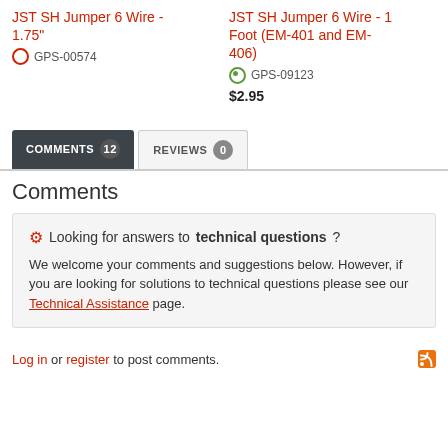JST SH Jumper 6 Wire - 1.75" | GPS-00574
JST SH Jumper 6 Wire - 1 Foot (EM-401 and EM-406) | GPS-09123 | $2.95
COMMENTS 12 | REVIEWS 0
Comments
Looking for answers to technical questions? We welcome your comments and suggestions below. However, if you are looking for solutions to technical questions please see our Technical Assistance page.
Log in or register to post comments.